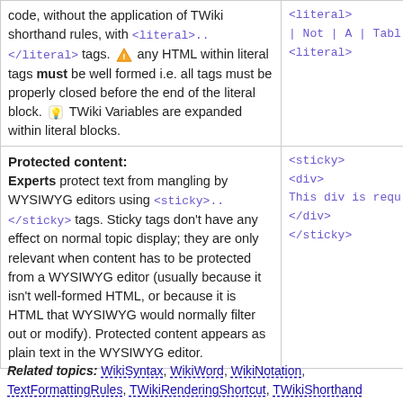| Description | Example |
| --- | --- |
| code, without the application of TWiki shorthand rules, with <literal>..</literal> tags. ⚠ any HTML within literal tags must be well formed i.e. all tags must be properly closed before the end of the literal block. 💡 TWiki Variables are expanded within literal blocks. | <literal>
| Not | A | Table
<literal> |
| Protected content:
Experts protect text from mangling by WYSIWYG editors using <sticky>..</sticky> tags. Sticky tags don't have any effect on normal topic display; they are only relevant when content has to be protected from a WYSIWYG editor (usually because it isn't well-formed HTML, or because it is HTML that WYSIWYG would normally filter out or modify). Protected content appears as plain text in the WYSIWYG editor. | <sticky>
<div>
This div is requ...
</div>
</sticky> |
Related topics: WikiSyntax, WikiWord, WikiNotation, TextFormattingRules, TWikiRenderingShortcut, TWikiShorthand